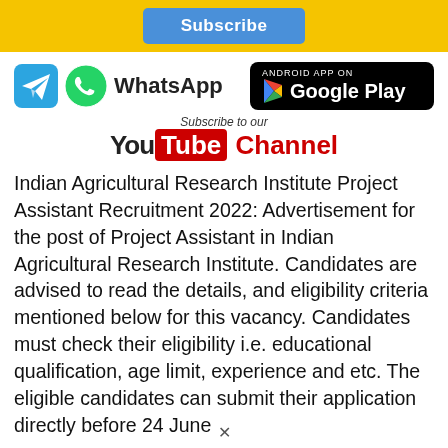[Figure (infographic): Yellow top bar with blue Subscribe button, social media icons (Telegram, WhatsApp, Google Play badge, YouTube Channel subscription prompt)]
Indian Agricultural Research Institute Project Assistant Recruitment 2022: Advertisement for the post of Project Assistant in Indian Agricultural Research Institute. Candidates are advised to read the details, and eligibility criteria mentioned below for this vacancy. Candidates must check their eligibility i.e. educational qualification, age limit, experience and etc. The eligible candidates can submit their application directly before 24 June